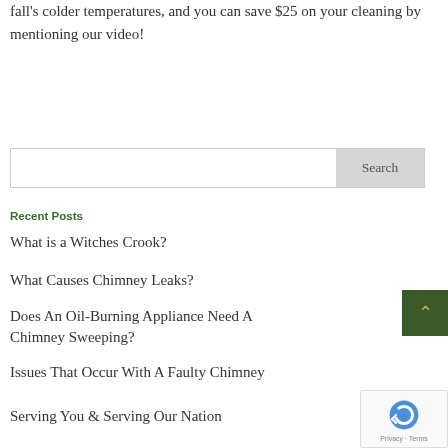fall's colder temperatures, and you can save $25 on your cleaning by mentioning our video!
Search
Recent Posts
What is a Witches Crook?
What Causes Chimney Leaks?
Does An Oil-Burning Appliance Need A Chimney Sweeping?
Issues That Occur With A Faulty Chimney
Serving You & Serving Our Nation